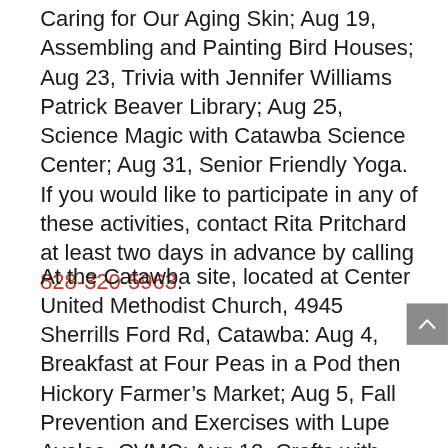Caring for Our Aging Skin; Aug 19, Assembling and Painting Bird Houses; Aug 23, Trivia with Jennifer Williams Patrick Beaver Library; Aug 25, Science Magic with Catawba Science Center; Aug 31, Senior Friendly Yoga. If you would like to participate in any of these activities, contact Rita Pritchard at least two days in advance by calling 828-320-5963.
At the Catawba site, located at Center United Methodist Church, 4945 Sherrills Ford Rd, Catawba: Aug 4, Breakfast at Four Peas in a Pod then Hickory Farmer's Market; Aug 5, Fall Prevention and Exercises with Lupe Avalos, CVMC; Aug 12, Crafts with Tonya Jarnac; Aug 18, Music by Charles Ballard; Aug 23, Science Magic with Catawba Science Center; Aug 25, Medicare...